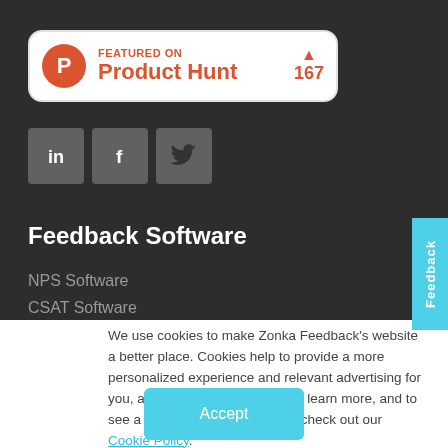[Figure (logo): Featured on Product Hunt badge with orange circle logo, text 'FEATURED ON Product Hunt' and upvote count 167]
[Figure (other): Social media share buttons for LinkedIn, Facebook, and Twitter]
Feedback Software
NPS Software
CSAT Software
[Figure (other): Vertical Feedback tab button in cyan/light blue]
We use cookies to make Zonka Feedback's website a better place. Cookies help to provide a more personalized experience and relevant advertising for you, and web analytics for us. To learn more, and to see a full list of cookies we use, check out our Cookie Policy.
Accept